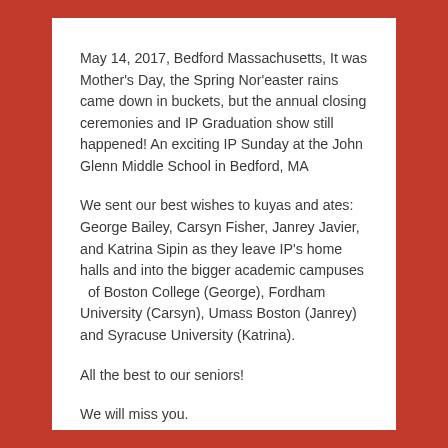May 14, 2017, Bedford Massachusetts, It was Mother's Day, the Spring Nor'easter rains came down in buckets, but the annual closing ceremonies and IP Graduation show still  happened! An exciting IP Sunday at the John Glenn Middle School in Bedford, MA
We sent our best wishes to kuyas and ates: George Bailey, Carsyn Fisher, Janrey Javier, and Katrina Sipin as they leave IP's home halls and into the bigger academic campuses  of Boston College (George), Fordham University (Carsyn), Umass Boston (Janrey) and Syracuse University (Katrina).
All the best to our seniors!
We will miss you.
Looking forward to seeing you in the summer (Lowell) and